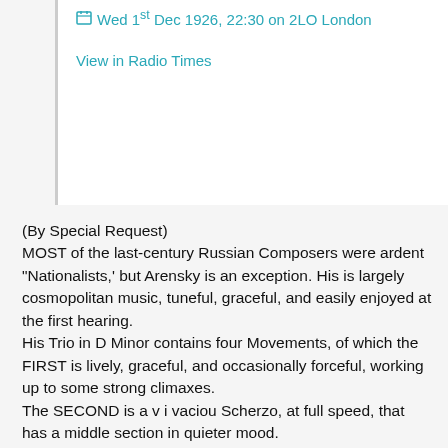Wed 1st Dec 1926, 22:30 on 2LO London
View in Radio Times
(By Special Request)
MOST of the last-century Russian Composers were ardent "Nationalists,' but Arensky is an exception. His is largely cosmopolitan music, tuneful, graceful, and easily enjoyed at the first hearing.
His Trio in D Minor contains four Movements, of which the FIRST is lively, graceful, and occasionally forceful, working up to some strong climaxes.
The SECOND is a v i vaciou Scherzo, at full speed, that has a middle section in quieter mood.
The THIRD is a slow Movement, entitled Elegy.
The FINALE surpasses in energy the First Movement. In the middle of it there is a lull, and, in slower time, we have a reminiscence of the